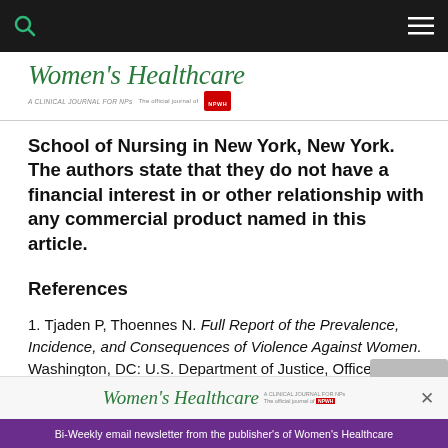Women's Healthcare — A Clinical Journal for NPs
School of Nursing in New York, New York. The authors state that they do not have a financial interest in or other relationship with any commercial product named in this article.
References
1. Tjaden P, Thoennes N. Full Report of the Prevalence, Incidence, and Consequences of Violence Against Women. Washington, DC: U.S. Department of Justice, Office of Justice Programs; 2000.